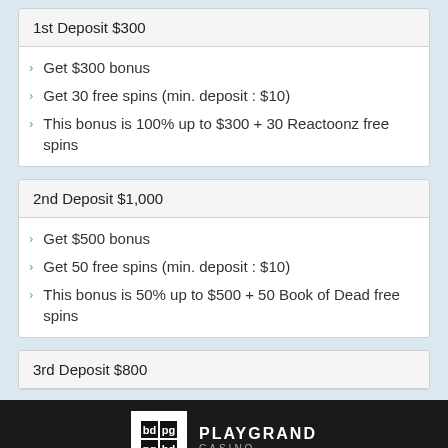1st Deposit $300
Get $300 bonus
Get 30 free spins (min. deposit : $10)
This bonus is 100% up to $300 + 30 Reactoonz free spins
2nd Deposit $1,000
Get $500 bonus
Get 50 free spins (min. deposit : $10)
This bonus is 50% up to $500 + 50 Book of Dead free spins
3rd Deposit $800
[Figure (logo): PlayGrand Casino logo on dark background]
GET THIS BONUS NOW
just sign up